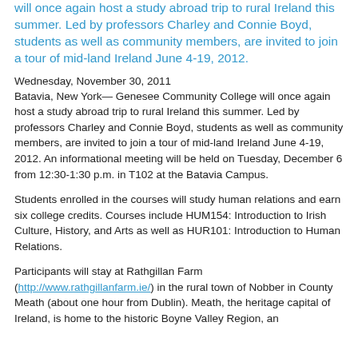will once again host a study abroad trip to rural Ireland this summer. Led by professors Charley and Connie Boyd, students as well as community members, are invited to join a tour of mid-land Ireland June 4-19, 2012.
Wednesday, November 30, 2011
Batavia, New York— Genesee Community College will once again host a study abroad trip to rural Ireland this summer. Led by professors Charley and Connie Boyd, students as well as community members, are invited to join a tour of mid-land Ireland June 4-19, 2012. An informational meeting will be held on Tuesday, December 6 from 12:30-1:30 p.m. in T102 at the Batavia Campus.
Students enrolled in the courses will study human relations and earn six college credits. Courses include HUM154: Introduction to Irish Culture, History, and Arts as well as HUR101: Introduction to Human Relations.
Participants will stay at Rathgillan Farm (http://www.rathgillanfarm.ie/) in the rural town of Nobber in County Meath (about one hour from Dublin). Meath, the heritage capital of Ireland, is home to the historic Boyne Valley Region, an